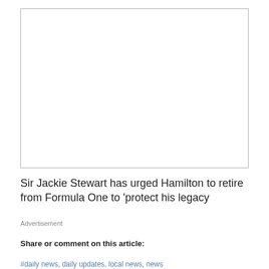[Figure (other): Empty white advertisement box with thin border]
Sir Jackie Stewart has urged Hamilton to retire from Formula One to ‘protect his legacy
Advertisement
Share or comment on this article:
#daily news, daily updates, local news, news